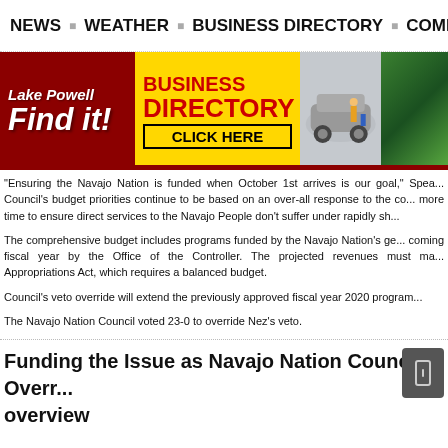NEWS  ·  WEATHER  ·  BUSINESS DIRECTORY  ·  COMM...
[Figure (infographic): Lake Powell Business Directory advertisement banner with red background, yellow section reading 'BUSINESS DIRECTORY CLICK HERE', and photos of a car and people on the right]
"Ensuring the Navajo Nation is funded when October 1st arrives is our goal," Spea... Council's budget priorities continue to be based on an over-all response to the co... more time to ensure direct services to the Navajo People don't suffer under rapidly sh...
The comprehensive budget includes programs funded by the Navajo Nation's ge... coming fiscal year by the Office of the Controller. The projected revenues must ma... Appropriations Act, which requires a balanced budget.
Council's veto override will extend the previously approved fiscal year 2020 program...
The Navajo Nation Council voted 23-0 to override Nez's veto.
Funding the Issue as Navajo Nation Council Overr... overview